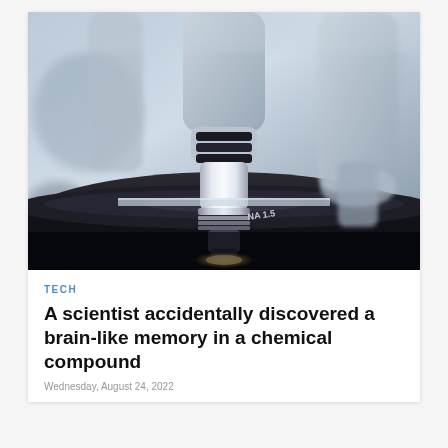[Figure (photo): Close-up photograph of a laboratory microscope, showing the objective lenses, stage, and slide with 'NA 1.5' marking visible on the stage plate. The image has a cool blue-white tone with metallic silver and dark black tones.]
TECH
A scientist accidentally discovered a brain-like memory in a chemical compound
Wednesday, August 24, 2022